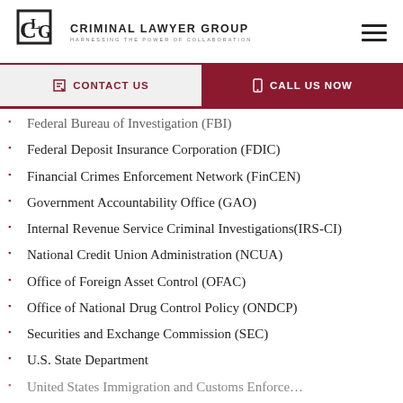Criminal Lawyer Group — Harnessing the Power of Collaboration
Federal Bureau of Investigation (FBI)
Federal Deposit Insurance Corporation (FDIC)
Financial Crimes Enforcement Network (FinCEN)
Government Accountability Office (GAO)
Internal Revenue Service Criminal Investigations(IRS-CI)
National Credit Union Administration (NCUA)
Office of Foreign Asset Control (OFAC)
Office of National Drug Control Policy (ONDCP)
Securities and Exchange Commission (SEC)
U.S. State Department
United States Immigration and Customs Enforcement...